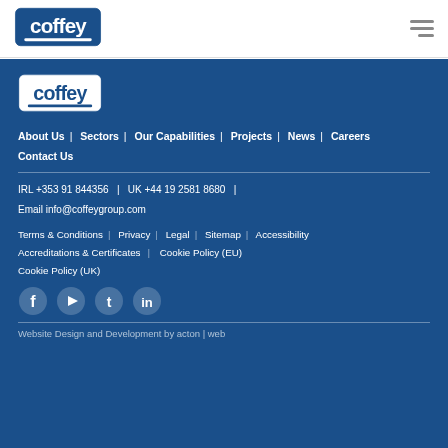[Figure (logo): Coffey company logo in white header bar]
[Figure (logo): Coffey company logo in blue footer section]
About Us  Sectors  Our Capabilities  Projects  News  Careers  Contact Us
IRL +353 91 844356  |  UK +44 19 2581 8680  |
Email info@coffeygroup.com
Terms & Conditions  Privacy  Legal  Sitemap  Accessibility  Accreditations & Certificates  Cookie Policy (EU)  Cookie Policy (UK)
[Figure (infographic): Social media icons: Facebook, YouTube, Twitter, LinkedIn]
Website Design and Development by acton | web